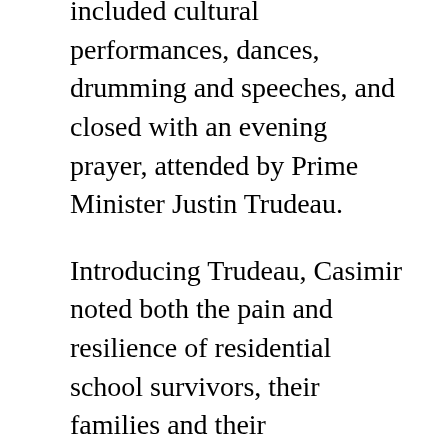included cultural performances, dances, drumming and speeches, and closed with an evening prayer, attended by Prime Minister Justin Trudeau.
Introducing Trudeau, Casimir noted both the pain and resilience of residential school survivors, their families and their communities.
"We have been damaged by the attack on our language and our culture arising from the forced removal of our children. We know those harms, but we also know what we're doing to revitalize that," she said.
Stressing the need for all levels of government to support and advance the work of reconciliation, Casimir said she hopes to see continued, concrete action.